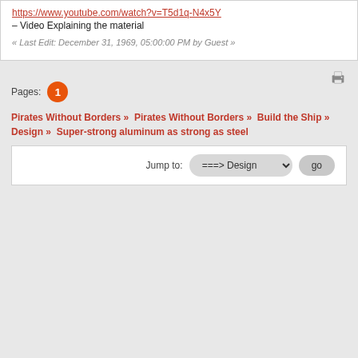https://www.youtube.com/watch?v=T5d1q-N4x5Y – Video Explaining the material
« Last Edit: December 31, 1969, 05:00:00 PM by Guest »
Pages: 1
Pirates Without Borders » Pirates Without Borders » Build the Ship » Design » Super-strong aluminum as strong as steel
Jump to: ===> Design  go